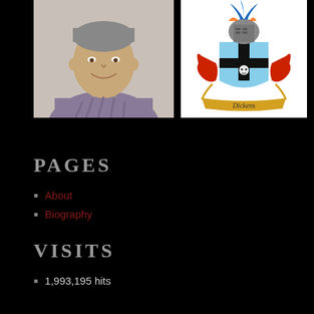[Figure (photo): Portrait photo of a middle-aged man with short grey hair, smiling, wearing a purple striped shirt]
[Figure (illustration): Dickens family coat of arms / heraldic crest with a knight helmet, blue shield with black cross and skull, red lion supporters, and banner reading 'Dickens']
PAGES
About
Biography
VISITS
1,993,195 hits